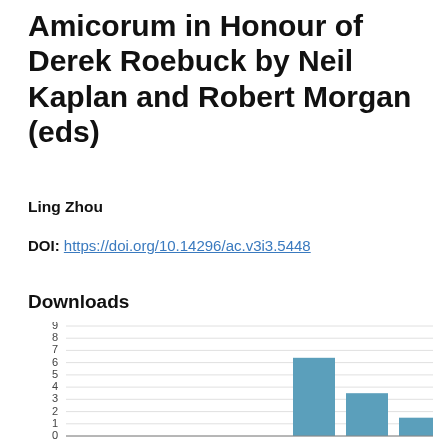Amicorum in Honour of Derek Roebuck by Neil Kaplan and Robert Morgan (eds)
Ling Zhou
DOI: https://doi.org/10.14296/ac.v3i3.5448
Downloads
[Figure (bar-chart): Downloads]